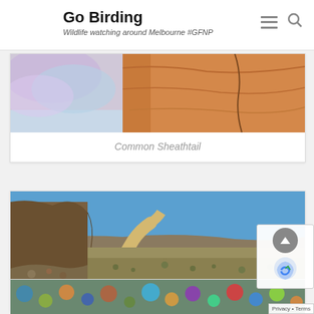Go Birding — Wildlife watching around Melbourne #GFNP
[Figure (photo): Partial view of colorful rock formation with orange and iridescent hues — top of a photo card for Common Sheathtail]
Common Sheathtail
[Figure (photo): Landscape photo of Cape Range — rocky cliffs on the left, a dirt road winding through arid scrubland under a clear blue sky]
Cape Range
[Figure (photo): Partial view of a third photo card at the bottom of the page — colorful stones/pebbles visible]